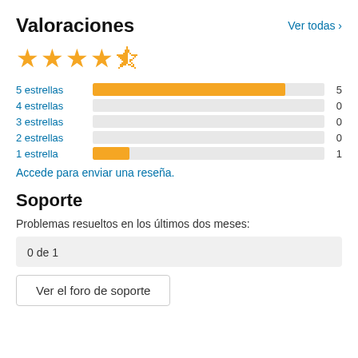Valoraciones
Ver todas >
[Figure (other): 4.5 out of 5 stars rating display: 4 full yellow stars and 1 half star]
[Figure (bar-chart): Ratings breakdown]
Accede para enviar una reseña.
Soporte
Problemas resueltos en los últimos dos meses:
0 de 1
Ver el foro de soporte